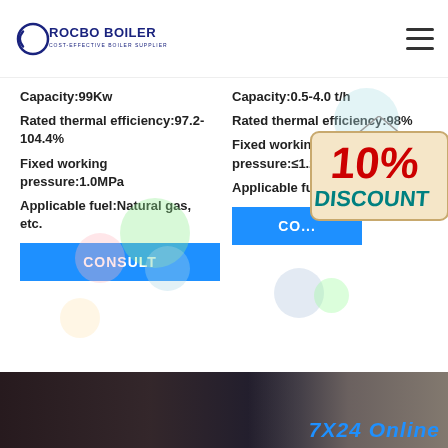ROCBO BOILER - COST-EFFECTIVE BOILER SUPPLIER
Capacity:99Kw
Rated thermal efficiency:97.2-104.4%
Fixed working pressure:1.0MPa
Applicable fuel:Natural gas, etc.
Capacity:0.5-4.0 t/h
Rated thermal efficiency:98%
Fixed working pressure:≤1.25MPa
Applicable fuel:electric energy
[Figure (infographic): 10% DISCOUNT promotional badge with hanging sign style in red and blue/teal colors]
[Figure (photo): Customer service representatives with headsets smiling, bottom strip of page showing 7X24 Online text]